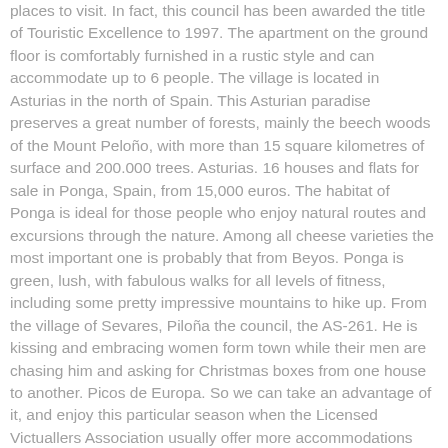places to visit. In fact, this council has been awarded the title of Touristic Excellence to 1997. The apartment on the ground floor is comfortably furnished in a rustic style and can accommodate up to 6 people. The village is located in Asturias in the north of Spain. This Asturian paradise preserves a great number of forests, mainly the beech woods of the Mount Peloño, with more than 15 square kilometres of surface and 200.000 trees. Asturias. 16 houses and flats for sale in Ponga, Spain, from 15,000 euros. The habitat of Ponga is ideal for those people who enjoy natural routes and excursions through the nature. Among all cheese varieties the most important one is probably that from Beyos. Ponga is green, lush, with fabulous walks for all levels of fitness, including some pretty impressive mountains to hike up. From the village of Sevares, Piloña the council, the AS-261. He is kissing and embracing women form town while their men are chasing him and asking for Christmas boxes from one house to another. Picos de Europa. So we can take an advantage of it, and enjoy this particular season when the Licensed Victuallers Association usually offer more accommodations and more guided excursions. Ponga has a totally unique local community of Town-Planning, places, people, business and leisure events & activities and a2zPlaces.Com offers a worldwide Town-Planning platform to feature all the local advantages and attractions of Town-Planning